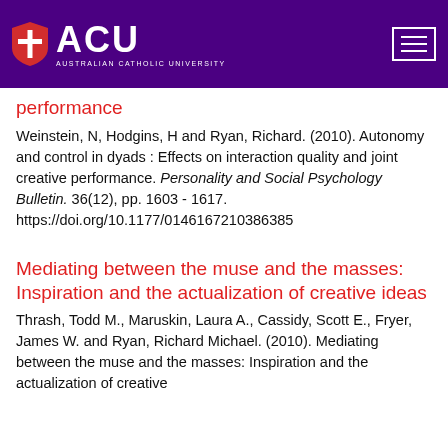[Figure (logo): Australian Catholic University (ACU) logo with shield icon on purple header bar with hamburger menu icon on right]
performance
Weinstein, N, Hodgins, H and Ryan, Richard. (2010). Autonomy and control in dyads : Effects on interaction quality and joint creative performance. Personality and Social Psychology Bulletin. 36(12), pp. 1603 - 1617. https://doi.org/10.1177/0146167210386385
Mediating between the muse and the masses: Inspiration and the actualization of creative ideas
Thrash, Todd M., Maruskin, Laura A., Cassidy, Scott E., Fryer, James W. and Ryan, Richard Michael. (2010). Mediating between the muse and the masses: Inspiration and the actualization of creative